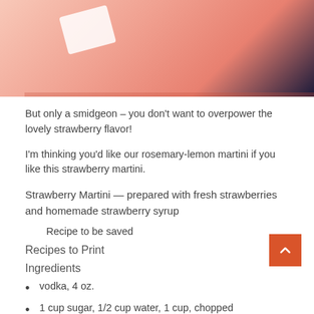[Figure (photo): Close-up photo of a pink/coral colored cocktail ball or sphere, glossy surface with white highlight reflection, dark blue background visible at right edge, white border on left side]
But only a smidgeon – you don't want to overpower the lovely strawberry flavor!
I'm thinking you'd like our rosemary-lemon martini if you like this strawberry martini.
Strawberry Martini — prepared with fresh strawberries and homemade strawberry syrup
Recipe to be saved
Recipes to Print
Ingredients
vodka, 4 oz.
1 cup sugar, 1/2 cup water, 1 cup, chopped…